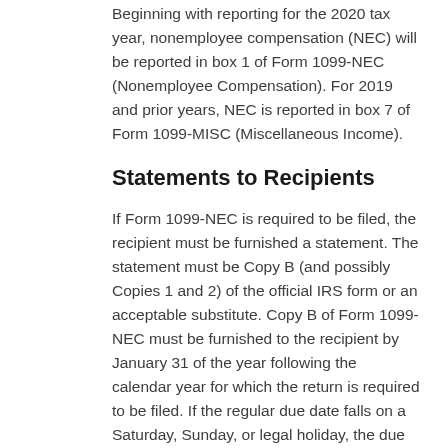Beginning with reporting for the 2020 tax year, nonemployee compensation (NEC) will be reported in box 1 of Form 1099-NEC (Nonemployee Compensation). For 2019 and prior years, NEC is reported in box 7 of Form 1099-MISC (Miscellaneous Income).
Statements to Recipients
If Form 1099-NEC is required to be filed, the recipient must be furnished a statement. The statement must be Copy B (and possibly Copies 1 and 2) of the official IRS form or an acceptable substitute. Copy B of Form 1099-NEC must be furnished to the recipient by January 31 of the year following the calendar year for which the return is required to be filed. If the regular due date falls on a Saturday, Sunday, or legal holiday, the due date is the next business day.